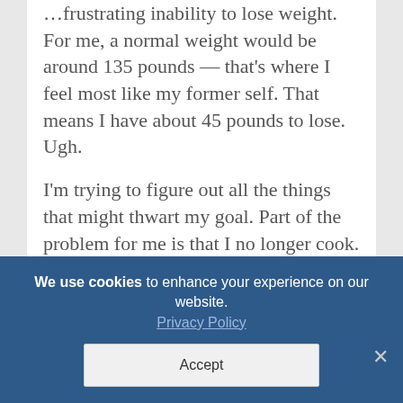So many issues could be causing this frustrating inability to lose weight. For me, a normal weight would be around 135 pounds — that's where I feel most like my former self. That means I have about 45 pounds to lose. Ugh.
I'm trying to figure out all the things that might thwart my goal. Part of the problem for me is that I no longer cook. If my husband doesn't cook, that means I find something easy to eat, and it's not
We use cookies to enhance your experience on our website. Privacy Policy Accept